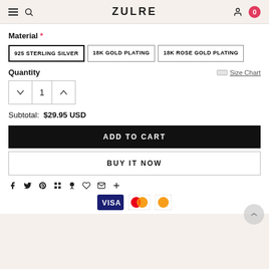ZULRE
Material *
925 STERLING SILVER
18K GOLD PLATING
18K ROSE GOLD PLATING
Quantity
Size Chart
1
Subtotal: $29.95 USD
ADD TO CART
BUY IT NOW
[Figure (other): Social sharing icons: Facebook, Twitter, Pinterest, Grid, Bookmark, Heart, Email, Plus]
[Figure (other): Payment method icons: Visa/Mastercard logos at bottom]